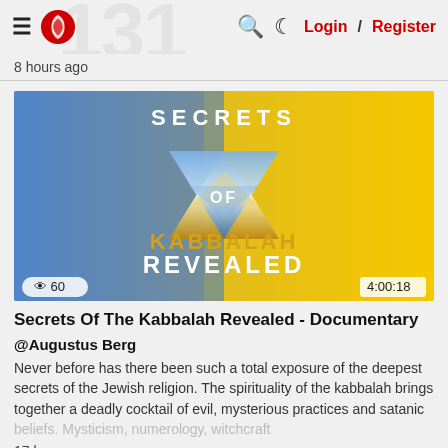≡ [logo] 🔍 🌙 Login / Register
8 hours ago
[Figure (screenshot): Thumbnail image for 'Secrets Of The Kabbalah Revealed' documentary. Yellow and blue background with a Star of David and text 'SECRETS OF KABBALAH REVEALED'. Shows view count 60 and duration 4:00:18.]
Secrets Of The Kabbalah Revealed - Documentary
@Augustus Berg
Never before has there been such a total exposure of the deepest secrets of the Jewish religion. The spirituality of the kabbalah brings together a deadly cocktail of evil, mysterious practices and satanic beliefs. Mysticism, numerology, witchcraft
17 hours ago